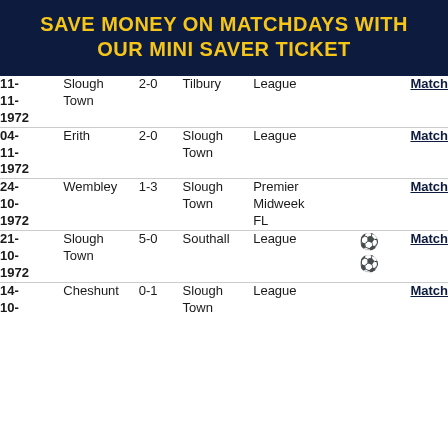SAVE MONEY ON MATCHDAYS WITH OUR MINI SAVER TICKET
| Date | Home | Score | Away | Competition | Icon | Link |
| --- | --- | --- | --- | --- | --- | --- |
| 11-11-1972 | Slough Town | 2-0 | Tilbury | League |  | Match |
| 04-11-1972 | Erith | 2-0 | Slough Town | League |  | Match |
| 24-10-1972 | Wembley | 1-3 | Slough Town | Premier Midweek FL |  | Match |
| 21-10-1972 | Slough Town | 5-0 | Southall | League | ⚽⚽ | Match |
| 14-10- | Cheshunt | 0-1 | Slough Town | League |  | Match |